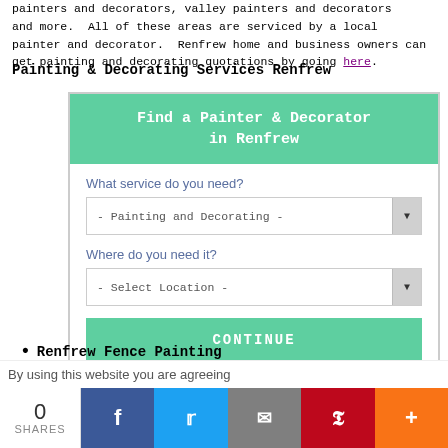painters and decorators, valley painters and decorators and more. All of these areas are serviced by a local painter and decorator. Renfrew home and business owners can get painting and decorating quotations by going here.
Painting & Decorating Services Renfrew
[Figure (screenshot): A web widget form titled 'Find a Painter & Decorator in Renfrew' with a green header, two dropdown selects ('What service do you need?' showing '- Painting and Decorating -' and 'Where do you need it?' showing '- Select Location -'), and a green CONTINUE button.]
Renfrew Fence Painting
By using this website you are agreeing
0 SHARES | Facebook | Twitter | Email | Pinterest | More